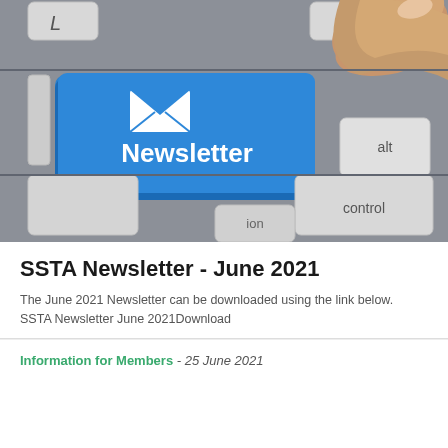[Figure (photo): A keyboard with a blue 'Newsletter' key featuring an envelope icon being pressed by a finger. Other visible keys include 'return', 'alt', 'control', and 'ion'.]
SSTA Newsletter - June 2021
The June 2021 Newsletter can be downloaded using the link below. SSTA Newsletter June 2021Download
Information for Members - 25 June 2021